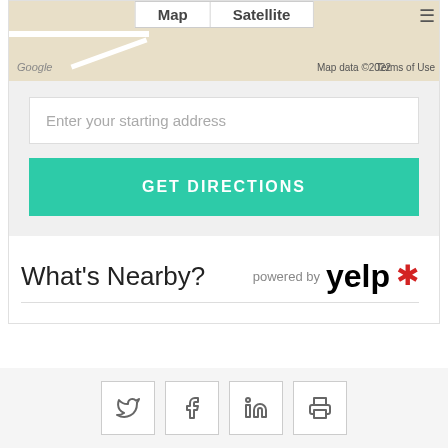[Figure (screenshot): Google Maps strip showing Map and Satellite tab buttons, Google logo, Map data ©2022 text, Terms of Use link, and zoom control]
Enter your starting address
GET DIRECTIONS
What's Nearby?
powered by yelp
Social share buttons: Twitter, Facebook, LinkedIn, Print